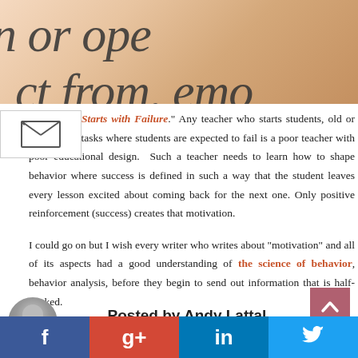[Figure (photo): Close-up photo of printed serif text on a page, showing partial words in italic serif font on a warm beige/peach background]
ess Always Starts with Failure. Any teacher who starts students, old or young with tasks where students are expected to fail is a poor teacher with poor educational design. Such a teacher needs to learn how to shape behavior where success is defined in such a way that the student leaves every lesson excited about coming back for the next one. Only positive reinforcement (success) creates that motivation.
I could go on but I wish every writer who writes about "motivation" and all of its aspects had a good understanding of the science of behavior, behavior analysis, before they begin to send out information that is half-cooked.
Posted by Andy Lattal